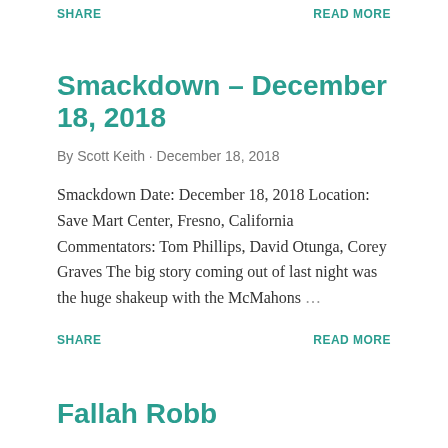SHARE
READ MORE
Smackdown – December 18, 2018
By Scott Keith · December 18, 2018
Smackdown Date: December 18, 2018 Location: Save Mart Center, Fresno, California Commentators: Tom Phillips, David Otunga, Corey Graves The big story coming out of last night was the huge shakeup with the McMahons ...
SHARE
READ MORE
Fallah Babb